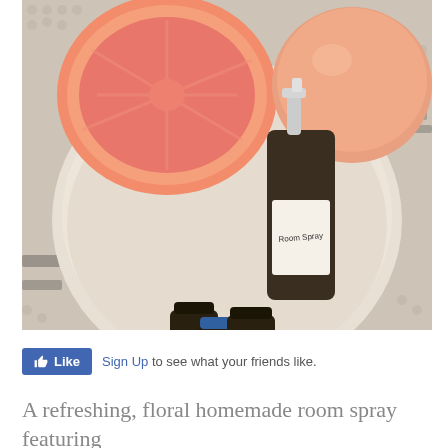[Figure (photo): Overhead photo of a beige bowl on a textured woven rug, containing essential oil bottles with yellow and purple labels, and a dark amber spray bottle labeled 'Room Spray'. Two grapefruits (one halved, one whole) are placed at the back of the bowl.]
Sign Up to see what your friends like.
A refreshing, floral homemade room spray featuring